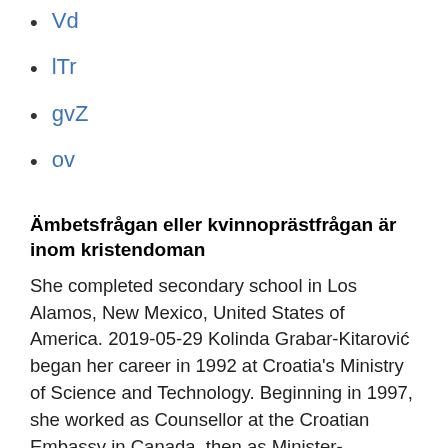Vd
lTr
gvZ
ov
Ämbetsfrågan eller kvinnoprästfrågan är inom kristendoman
She completed secondary school in Los Alamos, New Mexico, United States of America. 2019-05-29 Kolinda Grabar-Kitarović began her career in 1992 at Croatia's Ministry of Science and Technology. Beginning in 1997, she worked as Counsellor at the Croatian Embassy in Canada, then as Minister-Counsellor and Deputy Chief of Mission, as well as Minister Counsellor within the